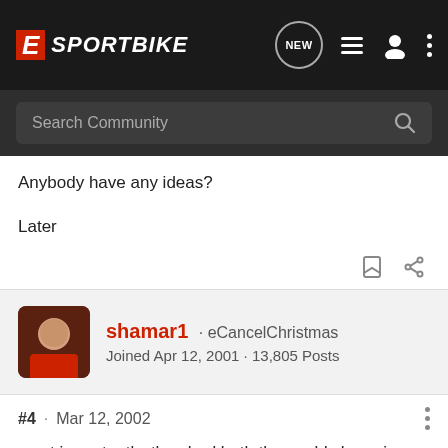[Figure (screenshot): eSportbike forum navigation bar with logo, NEW chat icon, list icon, user icon, and vertical dots menu]
[Figure (screenshot): Search Community input bar with magnifying glass icon]
Anybody have any ideas?
Later
shamar1 · eCancelChristmas
Joined Apr 12, 2001 · 13,805 Posts
#4 · Mar 12, 2002
most importantly, they had both the world champion NSR 500 and the four-stroke V5 on display. the had to break out the mops for my drool...!!! LOL